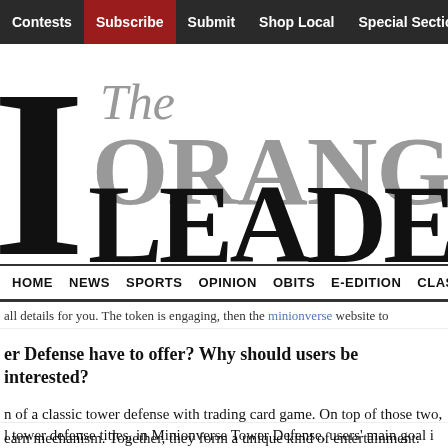Contests | Subscribe | Submit | Shop Local | Special Sections | Lifest...
[Figure (logo): The Orange Leader newspaper logo with large decorative masthead]
HOME  NEWS  SPORTS  OPINION  OBITS  E-EDITION  CLASS...
...all details for you. The token is engaging, then the minionverse website to...
er Defense have to offer? Why should users be interested?
n of a classic tower defense with trading card game. On top of those two, earn mechanism. Together, they form a unique kind of entertainment:
l tower defense titles, in Minionverse Tower Defense, users' main goal i...